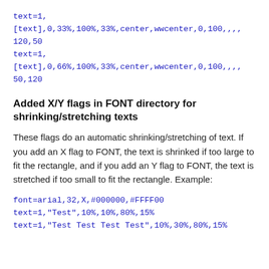text=1,
[text],0,33%,100%,33%,center,wwcenter,0,100,,,,
120,50
text=1,
[text],0,66%,100%,33%,center,wwcenter,0,100,,,,
50,120
Added X/Y flags in FONT directory for shrinking/stretching texts
These flags do an automatic shrinking/stretching of text. If you add an X flag to FONT, the text is shrinked if too large to fit the rectangle, and if you add an Y flag to FONT, the text is stretched if too small to fit the rectangle. Example:
font=arial,32,X,#000000,#FFFF00
text=1,"Test",10%,10%,80%,15%
text=1,"Test Test Test Test",10%,30%,80%,15%